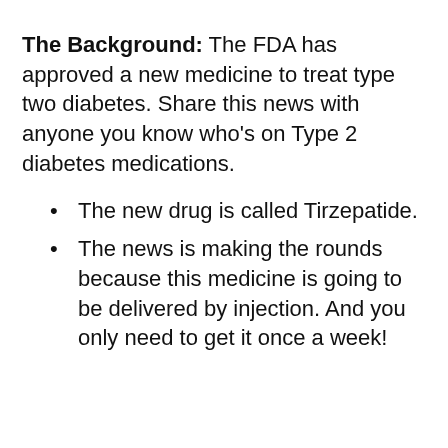The Background: The FDA has approved a new medicine to treat type two diabetes. Share this news with anyone you know who’s on Type 2 diabetes medications.
The new drug is called Tirzepatide.
The news is making the rounds because this medicine is going to be delivered by injection. And you only need to get it once a week!